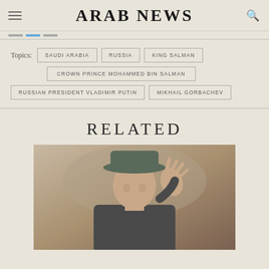ARAB NEWS
SAUDI ARABIA
RUSSIA
KING SALMAN
CROWN PRINCE MOHAMMED BIN SALMAN
RUSSIAN PRESIDENT VLADIMIR PUTIN
MIKHAIL GORBACHEV
RELATED
[Figure (photo): Man in hat waving, likely Mikhail Gorbachev]